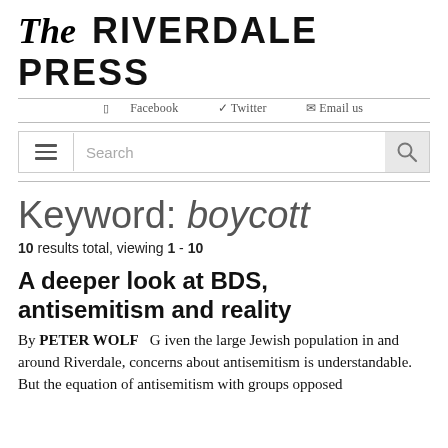The RIVERDALE PRESS
Facebook   Twitter   Email us
Keyword: boycott
10 results total, viewing 1 - 10
A deeper look at BDS, antisemitism and reality
By PETER WOLF   G iven the large Jewish population in and around Riverdale, concerns about antisemitism is understandable. But the equation of antisemitism with groups opposed